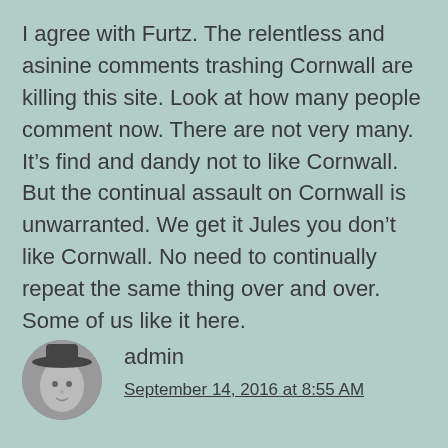I agree with Furtz. The relentless and asinine comments trashing Cornwall are killing this site. Look at how many people comment now. There are not very many. It’s find and dandy not to like Cornwall. But the continual assault on Cornwall is unwarranted. We get it Jules you don’t like Cornwall. No need to continually repeat the same thing over and over. Some of us like it here.
[Figure (photo): Circular avatar photo of a person wearing a hat, grayscale]
admin
September 14, 2016 at 8:55 AM